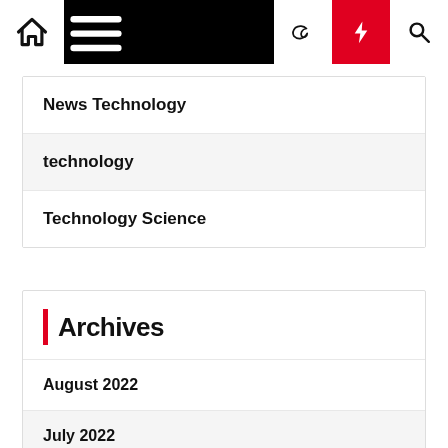Navigation bar with home, menu, moon, lightning, and search icons
News Technology
technology
Technology Science
Archives
August 2022
July 2022
June 2022
May 2022